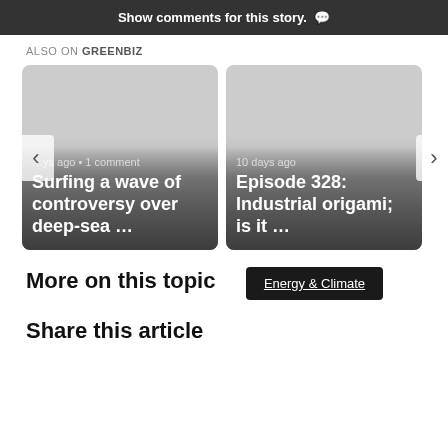Show comments for this story.
ALSO ON GREENBIZ
[Figure (screenshot): Two article cards in a carousel. Left card: '... days ago • 1 comment' and title 'Surfing a wave of controversy over deep-sea ...'. Right card: '10 days ago' and title 'Episode 328: Industrial origami; is it ...' Navigation arrows on both sides.]
More on this topic
Energy & Climate
Share this article